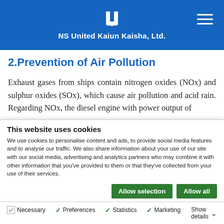NS United Kaiun Kaisha, Ltd.
2.Prevention of Air Pollution
Exhaust gases from ships contain nitrogen oxides (NOx) and sulphur oxides (SOx), which cause air pollution and acid rain. Regarding NOx, the diesel engine with power output of
This website uses cookies
We use cookies to personalise content and ads, to provide social media features and to analyse our traffic. We also share information about your use of our site with our social media, advertising and analytics partners who may combine it with other information that you've provided to them or that they've collected from your use of their services.
Allow selection | Allow all
Necessary  Preferences  Statistics  Marketing  Show details